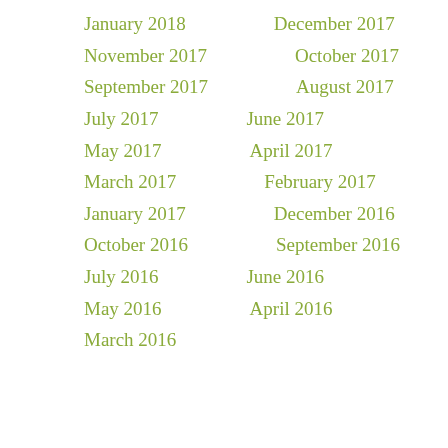January 2018
December 2017
November 2017
October 2017
September 2017
August 2017
July 2017
June 2017
May 2017
April 2017
March 2017
February 2017
January 2017
December 2016
October 2016
September 2016
July 2016
June 2016
May 2016
April 2016
March 2016